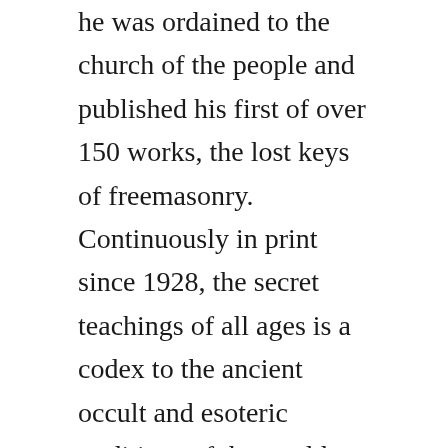he was ordained to the church of the people and published his first of over 150 works, the lost keys of freemasonry. Continuously in print since 1928, the secret teachings of all ages is a codex to the ancient occult and esoteric traditions of the world. The secret history of how mysticism shaped our nation, which provides some background on hall and the time in which this book was written. Please login or register to post messages and view our exclusive membersonly content. Dec 22, 2010 the secret teachings of all ages by manly p. The secret teachings an encyclopedic